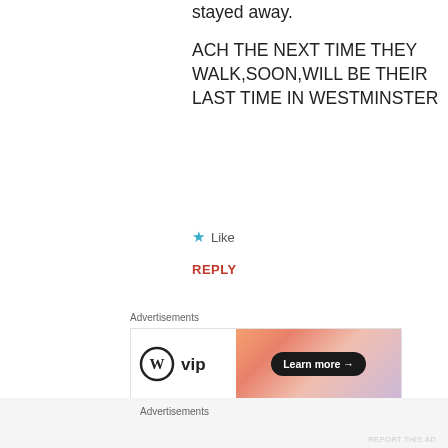stayed away.
ACH THE NEXT TIME THEY WALK,SOON,WILL BE THEIR LAST TIME IN WESTMINSTER
★ Like
REPLY
Advertisements
[Figure (other): WordPress VIP advertisement banner with gradient background and Learn more button]
REPORT THIS AD
steelewires
Advertisements
REPORT THIS AD